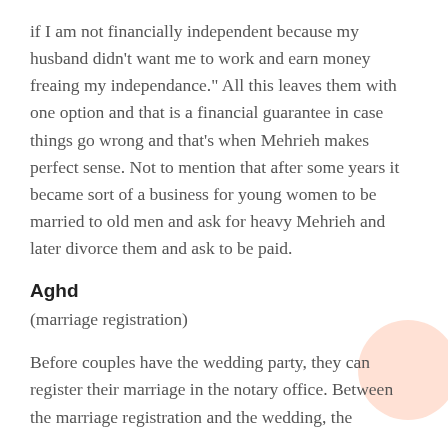if I am not financially independent because my husband didn't want me to work and earn money freaing my independance." All this leaves them with one option and that is a financial guarantee in case things go wrong and that's when Mehrieh makes perfect sense. Not to mention that after some years it became sort of a business for young women to be married to old men and ask for heavy Mehrieh and later divorce them and ask to be paid.
Aghd
(marriage registration)
Before couples have the wedding party, they can register their marriage in the notary office. Between the marriage registration and the wedding, the